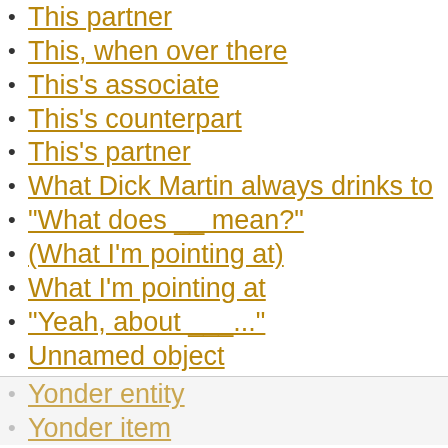This partner
This, when over there
This's associate
This's counterpart
This's partner
What Dick Martin always drinks to
"What does __ mean?"
(What I'm pointing at)
What I'm pointing at
"Yeah, about ___..."
Unnamed object
Yonder entity
Yonder item